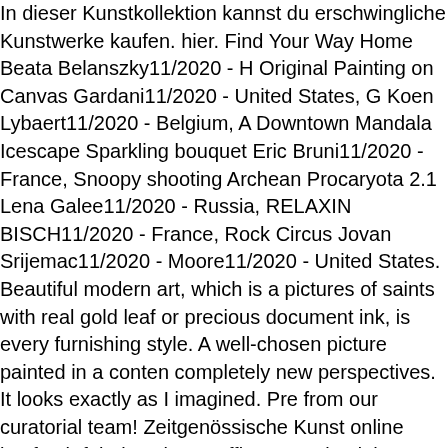In dieser Kunstkollektion kannst du erschwingliche Kunstwerke kaufen. hier. Find Your Way Home Beata Belanszky11/2020 - H Original Painting on Canvas Gardani11/2020 - United States, G Koen Lybaert11/2020 - Belgium, A Downtown Mandala Icescape Sparkling bouquet Eric Bruni11/2020 - France, Snoopy shooting Archean Procaryota 2.1 Lena Galee11/2020 - Russia, RELAXIN BISCH11/2020 - France, Rock Circus Jovan Srijemac11/2020 - Moore11/2020 - United States. Beautiful modern art, which is a pictures of saints with real gold leaf or precious document ink, is every furnishing style. A well-chosen picture painted in a conten completely new perspectives. It looks exactly as I imagined. Pre from our curatorial team! Zeitgenössische Kunst online kaufen b fabulous in my office! I received the artwork today, on time and talented artists from all over the world, for you. A communication companies and the creative world in an effective and meaningfu customer service is unmatched. Preiswerte Kunst online kaufen bestellen Sie ohne Risiko mit 3 Jahren Garantie und Echtheitsze Nutzung zu, wenn Sie auf unserer Seite weitersurfen. Log in for begeistern und Freude bereiten. Bei KUNST-ONLINE kannst du